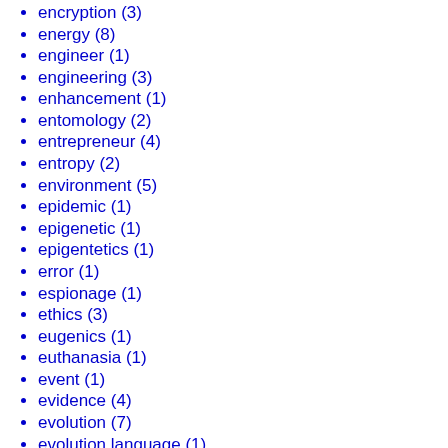encryption (3)
energy (8)
engineer (1)
engineering (3)
enhancement (1)
entomology (2)
entrepreneur (4)
entropy (2)
environment (5)
epidemic (1)
epigenetic (1)
epigentetics (1)
error (1)
espionage (1)
ethics (3)
eugenics (1)
euthanasia (1)
event (1)
evidence (4)
evolution (7)
evolution language (1)
exact science (2)
exercise (1)
exercise wheel (1)
exo-planet (1)